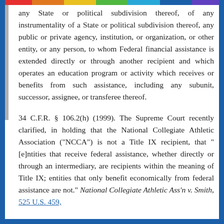any State or political subdivision thereof, of any instrumentality of a State or political subdivision thereof, any public or private agency, institution, or organization, or other entity, or any person, to whom Federal financial assistance is extended directly or through another recipient and which operates an education program or activity which receives or benefits from such assistance, including any subunit, successor, assignee, or transferee thereof.
34 C.F.R. § 106.2(h) (1999). The Supreme Court recently clarified, in holding that the National Collegiate Athletic Association ("NCCA") is not a Title IX recipient, that "[e]ntities that receive federal assistance, whether directly or through an intermediary, are recipients within the meaning of Title IX; entities that only benefit economically from federal assistance are not." National Collegiate Athletic Ass'n v. Smith, 525 U.S. 459,